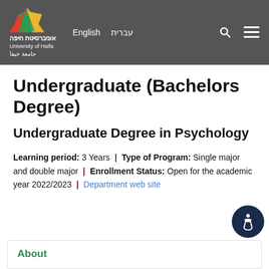University of Haifa — Navigation header with logo, English/עברית links, search and menu icons
Undergraduate (Bachelors Degree)
Undergraduate Degree in Psychology
Learning period: 3 Years | Type of Program: Single major and double major | Enrollment Status: Open for the academic year 2022/2023 | Department web site
About